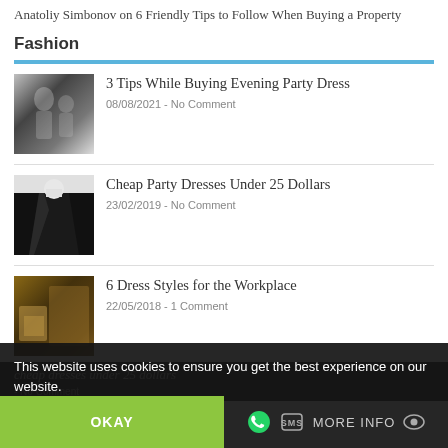Anatoliy Simbonov on 6 Friendly Tips to Follow When Buying a Property
Fashion
3 Tips While Buying Evening Party Dress — 08/08/2021 - No Comment
Cheap Party Dresses Under 25 Dollars — 23/02/2019 - No Comment
6 Dress Styles for the Workplace — 22/05/2018 - 1 Comment
This website uses cookies to ensure you get the best experience on our website.
OKAY | MORE INFO